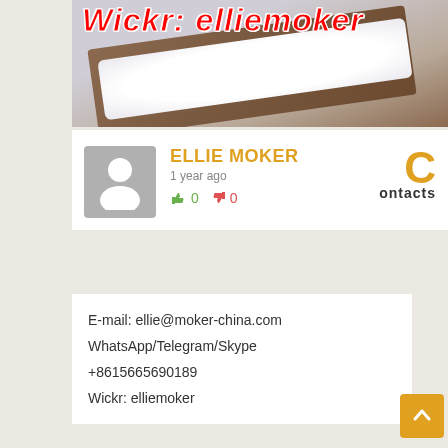[Figure (photo): Photo of white powder substance on a dark brown wooden board/tray with overlay text 'Wickr: elliemoker' in red italic bold font]
ELLIE MOKER
1 year ago
👍 0  👎 0
Contacts
E-mail: ellie@moker-china.com
WhatsApp/Telegram/Skype
+8615665690189
Wickr:  elliemoker